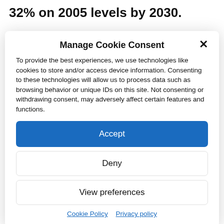32% on 2005 levels by 2030.
Manage Cookie Consent
To provide the best experiences, we use technologies like cookies to store and/or access device information. Consenting to these technologies will allow us to process data such as browsing behavior or unique IDs on this site. Not consenting or withdrawing consent, may adversely affect certain features and functions.
Accept
Deny
View preferences
Cookie Policy  Privacy policy
“I would still tell him, ‘Yeah, we need to stop and repeal the Clean Power Plan,’” he said.